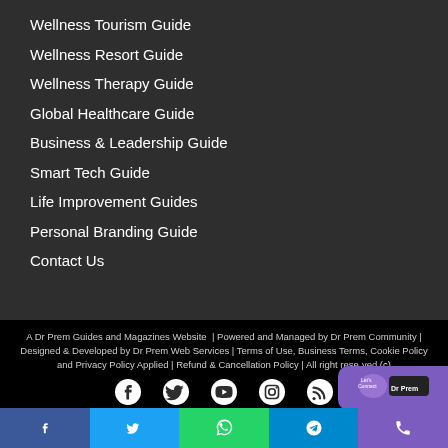Wellness Tourism Guide
Wellness Resort Guide
Wellness Therapy Guide
Global Healthcare Guide
Business & Leadership Guide
Smart Tech Guide
Life Improvement Guides
Personal Branding Guide
Contact Us
A Dr Prem Guides and Magazines Website  | Powered and Managed by Dr Prem Community | Designed & Developed by Dr Prem Web Services | Terms of Use, Business Terms, Cookie Policy and Privacy Policy Applied | Refund & Cancellation Policy | All right reserved (c)
[Figure (infographic): Social media icons row: Facebook, Twitter, YouTube, Instagram, RSS feed]
[Figure (illustration): Dr Prem character with Let's Connect chat widget]
Bottom social share bar: Facebook, Twitter, WhatsApp, Telegram, Phone